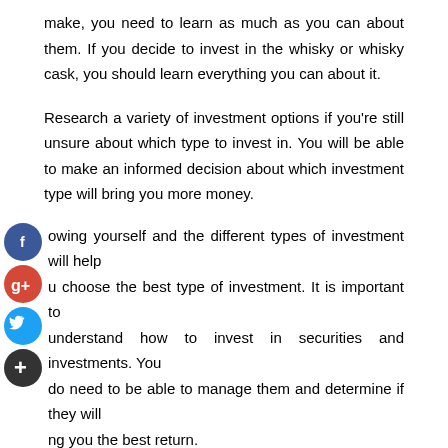make, you need to learn as much as you can about them. If you decide to invest in the whisky or whisky cask, you should learn everything you can about it.
Research a variety of investment options if you're still unsure about which type to invest in. You will be able to make an informed decision about which investment type will bring you more money.
Knowing yourself and the different types of investment will help you choose the best type of investment. It is important to understand how to invest in securities and investments. You do need to be able to manage them and determine if they will bring you the best return.
Comments Off